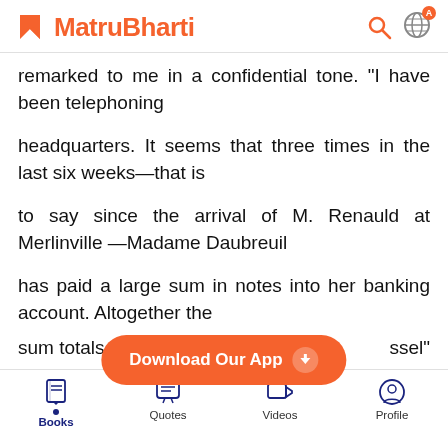MatruBharti
remarked to me in a confidential tone. “I have been telephoning
headquarters. It seems that three times in the last six weeks—that is
to say since the arrival of M. Renauld at Merlinville—Madame Daubreuil
has paid a large sum in notes into her banking account. Altogether the
sum totals t… …ssel”
[Figure (screenshot): Download Our App button overlay with orange rounded rectangle and download arrow icon]
Books  Quotes  Videos  Profile